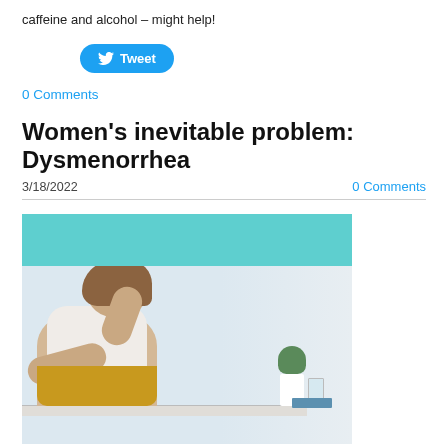caffeine and alcohol – might help!
[Figure (other): Tweet button (blue rounded rectangle with Twitter bird icon)]
0 Comments
Women's inevitable problem: Dysmenorrhea
3/18/2022
0 Comments
[Figure (photo): Photo of a woman hunched over a desk in pain, holding her abdomen, with a plant and glass of water visible in the background. Above the photo is a teal/turquoise colored banner.]